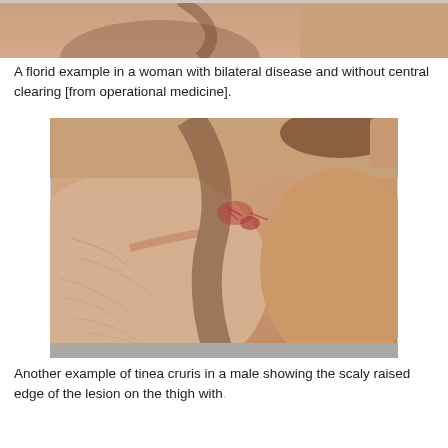[Figure (photo): Partial view of a woman's groin/inner thigh area showing a skin rash (tinea cruris/jock itch) with bilateral disease and without central clearing.]
A florid example in a woman with bilateral disease and without central clearing [from operational medicine].
[Figure (photo): Clinical photograph of a male patient's groin area showing tinea cruris with a scaly raised edge of the lesion on the thigh.]
Another example of tinea cruris in a male showing the scaly raised edge of the lesion on the thigh with.